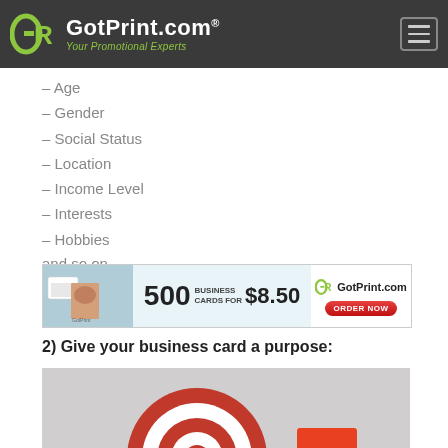GotPrint.com® Your Promotional Experts
– Age
– Gender
– Social Status
– Location
– Income Level
– Interests
– Hobbies
and so on...
[Figure (other): GotPrint.com advertisement banner: 500 Business Cards for $8.50, ORDER NOW button]
2) Give your business card a purpose:
[Figure (photo): Photo of a red and white target/bullseye with arrows and a red card on a light grey background]